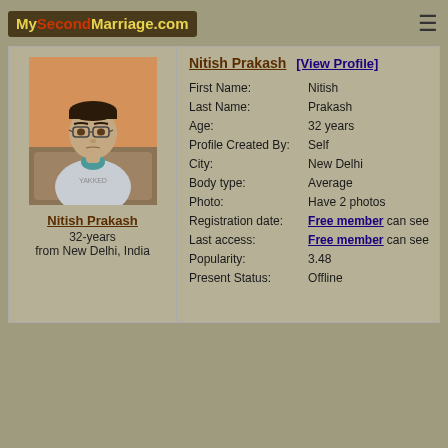MySecondMarriage.com
[Figure (photo): Profile photo of Nitish Prakash, a man with glasses seated on a sofa]
Nitish Prakash
32-years
from New Delhi, India
| Field | Value |
| --- | --- |
| Nitish Prakash | [View Profile] |
| First Name: | Nitish |
| Last Name: | Prakash |
| Age: | 32 years |
| Profile Created By: | Self |
| City: | New Delhi |
| Body type: | Average |
| Photo: | Have 2 photos |
| Registration date: | Free member can see |
| Last access: | Free member can see |
| Popularity: | 3.48 |
| Present Status: | Offline |